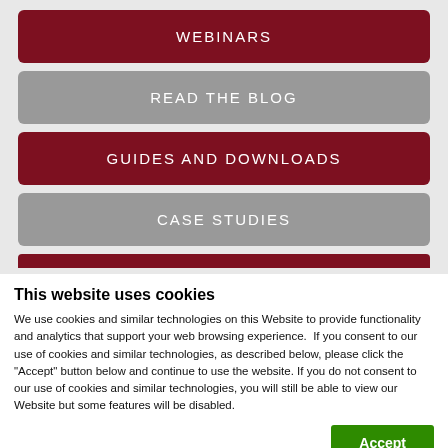WEBINARS
READ THE BLOG
GUIDES AND DOWNLOADS
CASE STUDIES
This website uses cookies
We use cookies and similar technologies on this Website to provide functionality and analytics that support your web browsing experience.  If you consent to our use of cookies and similar technologies, as described below, please click the "Accept" button below and continue to use the website. If you do not consent to our use of cookies and similar technologies, you will still be able to view our Website but some features will be disabled.
Accept
Necessary  Preferences  Statistics  Marketing  Show details